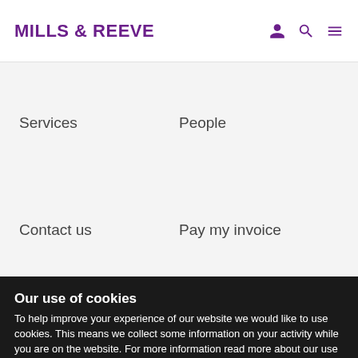MILLS & REEVE
Services
People
Contact us
Pay my invoice
Our use of cookies
To help improve your experience of our website we would like to use cookies. This means we collect some information on your activity while you are on the website. For more information read more about our use of cookies here, your setting can be changed at any time.
Please accept our use of cookies and help us improve your experience.
Accept
Cookie settings